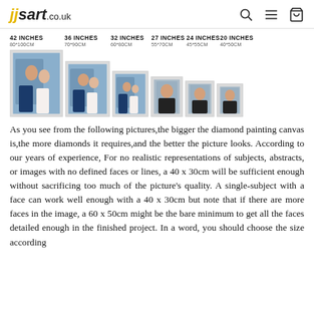jjsart.co.uk
[Figure (infographic): Six framed photo prints shown in decreasing size order, each labeled with inches and centimeter dimensions: 42 INCHES 80*100CM, 36 INCHES 70*90CM, 32 INCHES 60*80CM, 27 INCHES 55*70CM, 24 INCHES 45*55CM, 20 INCHES 40*50CM]
As you see from the following pictures,the bigger the diamond painting canvas is,the more diamonds it requires,and the better the picture looks. According to our years of experience, For no realistic representations of subjects, abstracts, or images with no defined faces or lines, a 40 x 30cm will be sufficient enough without sacrificing too much of the picture's quality. A single-subject with a face can work well enough with a 40 x 30cm but note that if there are more faces in the image, a 60 x 50cm might be the bare minimum to get all the faces detailed enough in the finished project. In a word, you should choose the size according